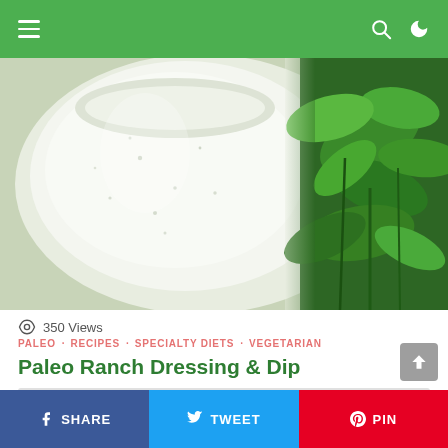Navigation bar with hamburger menu, search icon, and moon/dark mode icon
[Figure (photo): Close-up photo of a jar of white ranch dressing with black speckles on the left, and fresh green herbs (parsley, dill) on the right side]
350 Views
PALEO · RECIPES · SPECIALTY DIETS · VEGETARIAN
Paleo Ranch Dressing & Dip
[Figure (other): Gray placeholder/advertisement box]
SHARE   TWEET   PIN